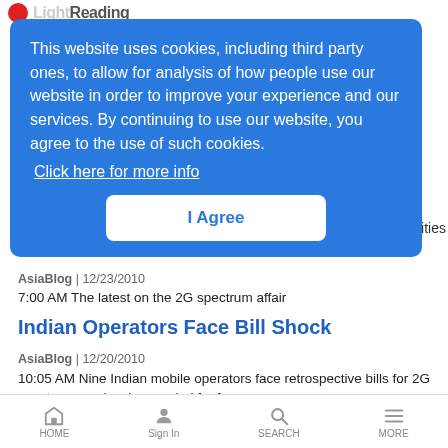Light Reading
This website uses cookies, including third party ones, to allow for analysis of how people use our website in order to improve your experience and our services. By continuing to use our website, you agree to the use of such cookies. Click here for more info
I Agree
AsiaBlog | 12/23/2010
7:00 AM The latest on the 2G spectrum affair
Indian Operators Face Bill Shock
AsiaBlog | 12/20/2010
10:05 AM Nine Indian mobile operators face retrospective bills for 2G spectrum previously awarded for free
HOME  Sign In  SEARCH  MORE